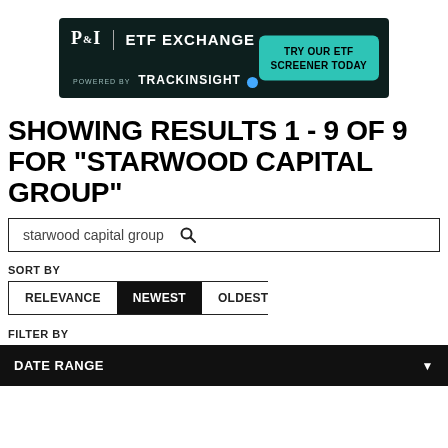[Figure (screenshot): P&I ETF Exchange advertisement banner powered by trackinsight with teal 'TRY OUR ETF SCREENER TODAY' call to action button on dark background]
SHOWING RESULTS 1 - 9 OF 9 FOR "STARWOOD CAPITAL GROUP"
starwood capital group 🔍
SORT BY
RELEVANCE   NEWEST   OLDEST
FILTER BY
DATE RANGE